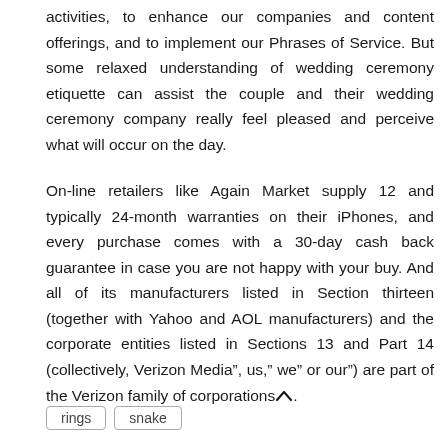activities, to enhance our companies and content offerings, and to implement our Phrases of Service. But some relaxed understanding of wedding ceremony etiquette can assist the couple and their wedding ceremony company really feel pleased and perceive what will occur on the day.
On-line retailers like Again Market supply 12 and typically 24-month warranties on their iPhones, and every purchase comes with a 30-day cash back guarantee in case you are not happy with your buy. And all of its manufacturers listed in Section thirteen (together with Yahoo and AOL manufacturers) and the corporate entities listed in Sections 13 and Part 14 (collectively, Verizon Media”, us,” we” or our”) are part of the Verizon family of corporations.
rings
snake